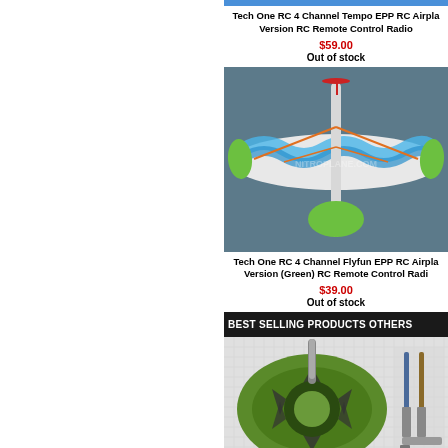Tech One RC 4 Channel Tempo EPP RC Airplane Version RC Remote Control Radio
$59.00
Out of stock
[Figure (photo): RC airplane with green and blue wave pattern on wings, viewed from above on dark gray background]
Tech One RC 4 Channel Flyfun EPP RC Airplane Version (Green) RC Remote Control Radio
$39.00
Out of stock
BEST SELLING PRODUCTS OTHERS
[Figure (photo): Green brushless motor with gray shaft on mesh background, with tools visible on right side]